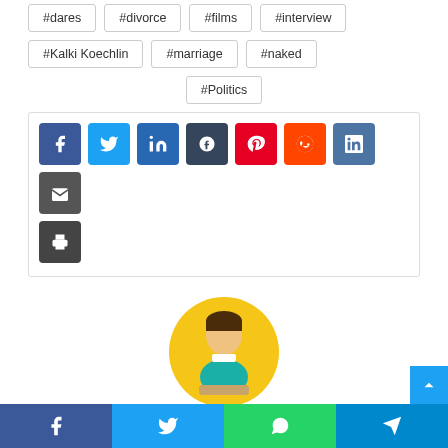#dares
#divorce
#films
#interview
#Kalki Koechlin
#marriage
#naked
#Politics
[Figure (infographic): Social share buttons: Facebook (blue), Twitter (light blue), LinkedIn (dark blue), Tumblr (dark navy), Pinterest (red), Reddit (orange-red), VK (steel blue), Email (dark gray), Print (dark gray)]
[Figure (illustration): Generic user avatar - male figure with brown hair wearing teal shirt on yellow circular background]
[Figure (infographic): Bottom share bar with Facebook, Twitter, WhatsApp, and Telegram buttons]